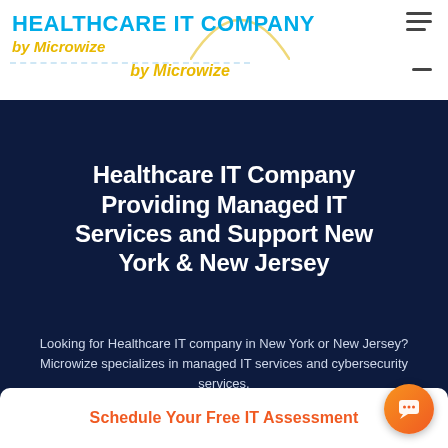HEALTHCARE IT COMPANY by Microwize
Healthcare IT Company Providing Managed IT Services and Support New York & New Jersey
Looking for Healthcare IT company in New York or New Jersey? Microwize specializes in managed IT services and cybersecurity services.
Schedule Your Free IT Assessment